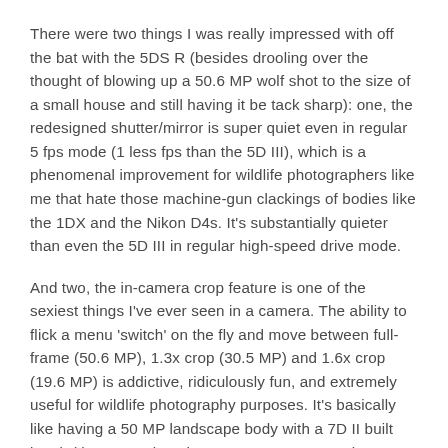There were two things I was really impressed with off the bat with the 5DS R (besides drooling over the thought of blowing up a 50.6 MP wolf shot to the size of a small house and still having it be tack sharp): one, the redesigned shutter/mirror is super quiet even in regular 5 fps mode (1 less fps than the 5D III), which is a phenomenal improvement for wildlife photographers like me that hate those machine-gun clackings of bodies like the 1DX and the Nikon D4s. It's substantially quieter than even the 5D III in regular high-speed drive mode.
And two, the in-camera crop feature is one of the sexiest things I've ever seen in a camera. The ability to flick a menu 'switch' on the fly and move between full-frame (50.6 MP), 1.3x crop (30.5 MP) and 1.6x crop (19.6 MP) is addictive, ridiculously fun, and extremely useful for wildlife photography purposes. It's basically like having a 50 MP landscape body with a 7D II built into it (the 5DS R has the same AF system as the 7D II — which is fantastic for wildlife shooters), since